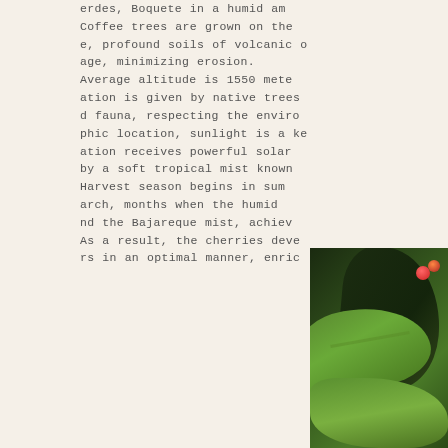erdes, Boquete in a humid am Coffee trees are grown on the e, profound soils of volcanic o age, minimizing erosion. Average altitude is 1550 mete ation is given by native trees d fauna, respecting the enviro phic location, sunlight is a ke ation receives powerful solar by a soft tropical mist known Harvest season begins in sum arch, months when the humid nd the Bajareque mist, achiev As a result, the cherries deve rs in an optimal manner, enric
[Figure (photo): Close-up photo of coffee plant leaves and red coffee cherries. Large dark green leaves dominate the frame with bright red ripe coffee cherries visible in the upper right area. The image shows tropical foliage typical of a coffee plantation.]